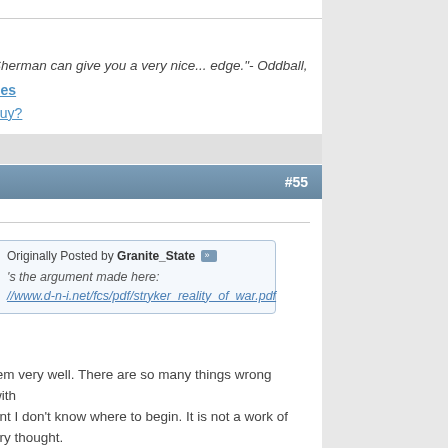Sherman can give you a very nice... edge."- Oddball,
oes
guy?
#55
Originally Posted by Granite_State
's the argument made here:
//www.d-n-i.net/fcs/pdf/stryker_reality_of_war.pdf
tem very well. There are so many things wrong with ent I don't know where to begin. It is not a work of ary thought.